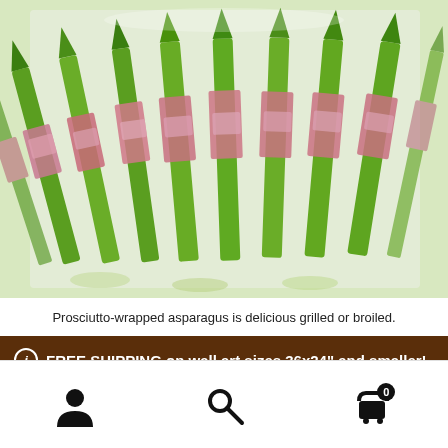[Figure (photo): Prosciutto-wrapped asparagus spears arranged in a baking pan, showing green asparagus stalks wrapped with pink prosciutto ham.]
Prosciutto-wrapped asparagus is delicious grilled or broiled.
FREE SHIPPING on wall art sizes 36x24" and smaller! Use Code SHIPFREE
Dismiss
Navigation icons: user, search, cart (0)